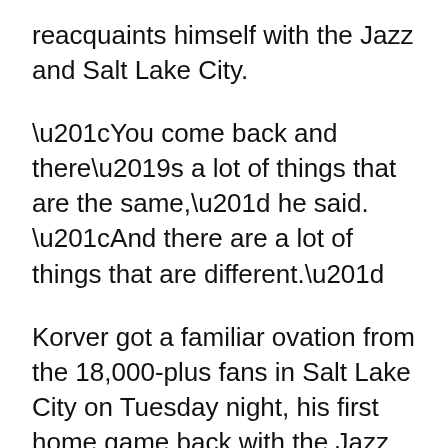reacquaints himself with the Jazz and Salt Lake City.
“You come back and there’s a lot of things that are the same,” he said. “And there are a lot of things that are different.”
Korver got a familiar ovation from the 18,000-plus fans in Salt Lake City on Tuesday night, his first home game back with the Jazz. And then he did what he has always done on a basketball court, showing off his quick release to score 15 points off the bench in a 139-105 win over the San Antonio Spurs.